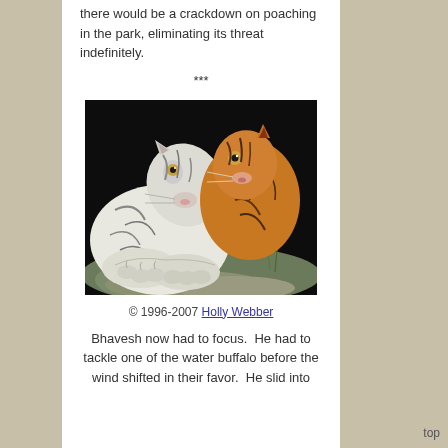there would be a crackdown on poaching in the park, eliminating its threat indefinitely.
***
[Figure (photo): Two tigers resting together — a white tiger and an orange tiger. The white tiger appears to be nuzzling or grooming the orange tiger. Both are lying down with large paws visible in the foreground, with grass and rocks in the background.]
© 1996-2007 Holly Webber
Bhavesh now had to focus.  He had to tackle one of the water buffalo before the wind shifted in their favor.  He slid into